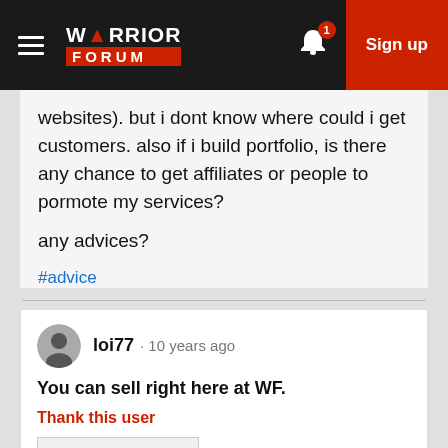Warrior Forum
websites). but i dont know where could i get customers. also if i build portfolio, is there any chance to get affiliates or people to pormote my services?
any advices?
#advice
loi77 · 10 years ago
You can sell right here at WF.
Thank this user